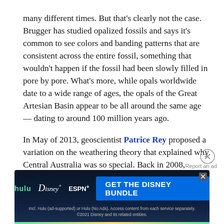many different times. But that's clearly not the case. Brugger has studied opalized fossils and says it's common to see colors and banding patterns that are consistent across the entire fossil, something that wouldn't happen if the fossil had been slowly filled in pore by pore. What's more, while opals worldwide date to a wide range of ages, the opals of the Great Artesian Basin appear to be all around the same age — dating to around 100 million years ago.
In May of 2013, geoscientist Patrice Rey proposed a variation on the weathering theory that explained why Central Australia was so special. Back in 2008, NASA rovers found opals on Mars. They were common opals, not precious ones, but the discovery got Rey thinking about what the Great Artesian Basin and the Red Planet had in common — namely, all that
[Figure (other): Advertisement banner for The Disney Bundle featuring Hulu, Disney+, and ESPN+ logos with a blue 'GET THE DISNEY BUNDLE' button and fine print about subscription details.]